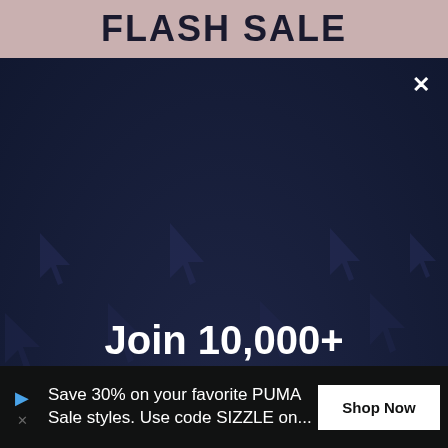FLASH SALE
Join 10,000+ Subscribers
Weekly Branding and Marketing tips to grow Winning Companies. 100% Content, 0% Spam.
Save 30% on your favorite PUMA Sale styles. Use code SIZZLE on...
Shop Now